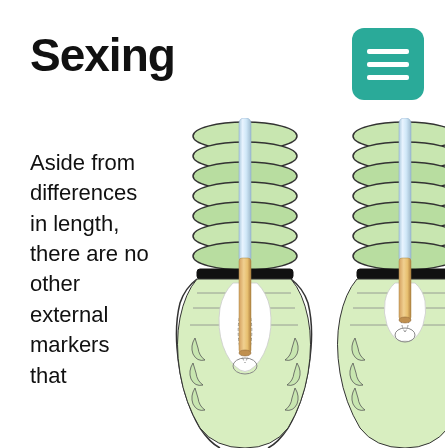Sexing
[Figure (illustration): Menu/hamburger button icon — teal rounded square with three white horizontal bars]
Aside from differences in length, there are no other external markers that
[Figure (illustration): Two side-by-side anatomical cross-section diagrams of snake tails showing probing technique for sexing — left diagram shows probe inserted deeper (male), right shows probe inserted less deeply (female), both with green scaled snake body and blue/silver probe]